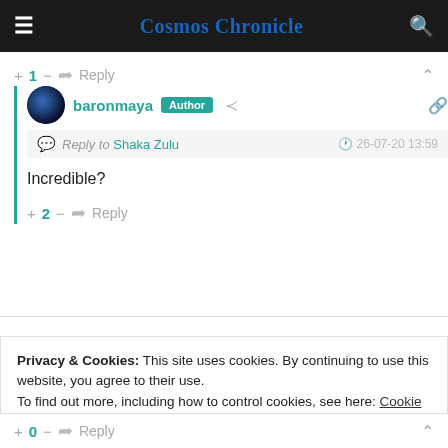Cosmos Chronicle
+ 1 — Reply
baronmaya Author — Reply to Shaka Zulu — 26-07-20 13:59 — Incredible?
Incredible?
+ 2 — Reply
Privacy & Cookies: This site uses cookies. By continuing to use this website, you agree to their use. To find out more, including how to control cookies, see here: Cookie Policy
Close and accept
+ 0 — Reply